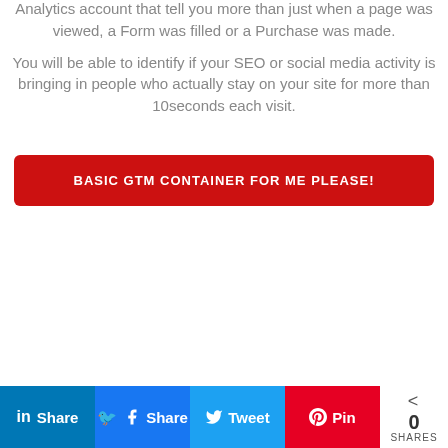Analytics account that tell you more than just when a page was viewed, a Form was filled or a Purchase was made.
You will be able to identify if your SEO or social media activity is bringing in people who actually stay on your site for more than 10seconds each visit.
BASIC GTM CONTAINER FOR ME PLEASE!
in Share | Share | Tweet | Pin | 0 SHARES